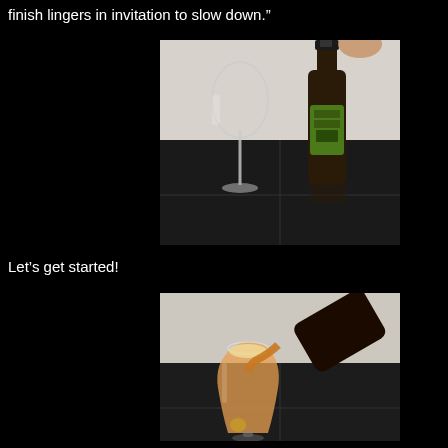finish lingers in invitation to slow down."
[Figure (photo): A wine glass and a dark beer bottle being opened with a bottle opener on a black tile surface. The bottle has a green label.]
Let’s get started!
[Figure (photo): Beer being poured from a dark bottle into a stemmed tulip glass on a black tile surface; amber-colored beer with foam visible.]